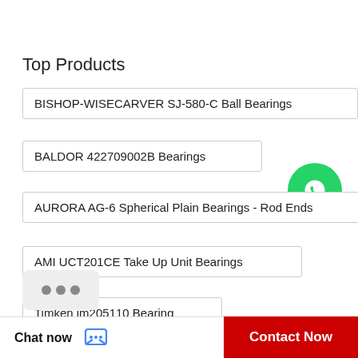Top Products
BISHOP-WISECARVER SJ-580-C Ball Bearings
BALDOR 422709002B Bearings
[Figure (logo): WhatsApp green circle logo with text 'WhatsApp Online' below]
AURORA AG-6 Spherical Plain Bearings - Rod Ends
AMI UCT201CE Take Up Unit Bearings
Timken jm205110 Bearing
Chat now
Contact Now